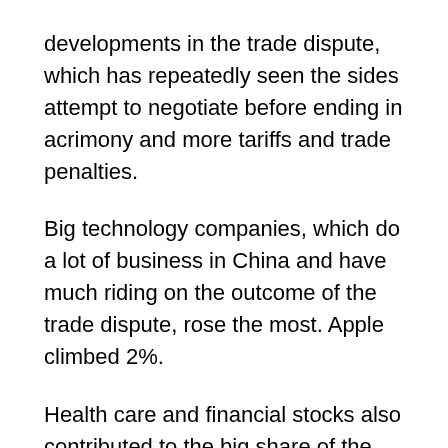developments in the trade dispute, which has repeatedly seen the sides attempt to negotiate before ending in acrimony and more tariffs and trade penalties.
Big technology companies, which do a lot of business in China and have much riding on the outcome of the trade dispute, rose the most. Apple climbed 2%.
Health care and financial stocks also contributed to the big share of the early gains as the market clawed back some of the heavy losses from last week, which marked its fourth straight weekly loss. On Friday, the Dow Jones Industrial Average plunged more than 600 points after Washington and Beijing each threatened a new round of tariffs on each other's goods.
The escalation in the trade conflict had global markets